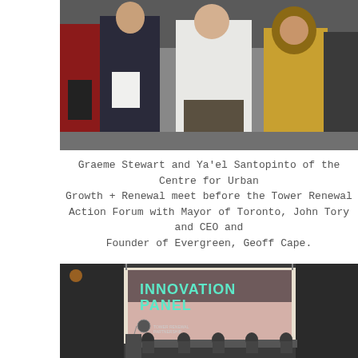[Figure (photo): Group of people networking at an event. Several individuals in business attire standing and talking, one man in a white shirt with his back to the camera, a woman in a yellow/mustard top on the right.]
Graeme Stewart and Ya'el Santopinto of the Centre for Urban Growth + Renewal meet before the Tower Renewal Action Forum with Mayor of Toronto, John Tory and CEO and Founder of Evergreen, Geoff Cape.
[Figure (photo): Indoor presentation event showing a large projected screen with 'INNOVATION PANEL' in teal/cyan text and Tower Renewal Partnership logo. Panel of speakers seated at a table in front of the screen.]